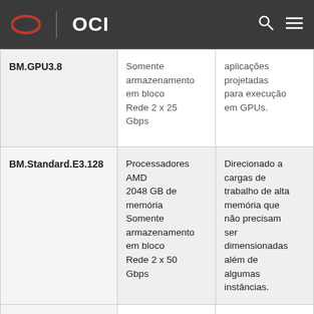OCI
| BM.GPU3.8 | Somente armazenamento em bloco Rede 2 x 25 Gbps | aplicações projetadas para execução em GPUs. |
| BM.Standard.E3.128 | Processadores AMD 2048 GB de memória Somente armazenamento em bloco Rede 2 x 50 Gbps | Direcionado a cargas de trabalho de alta memória que não precisam ser dimensionadas além de algumas instâncias. |
|  | Processadores AMD Memória GPU | Direcio... |